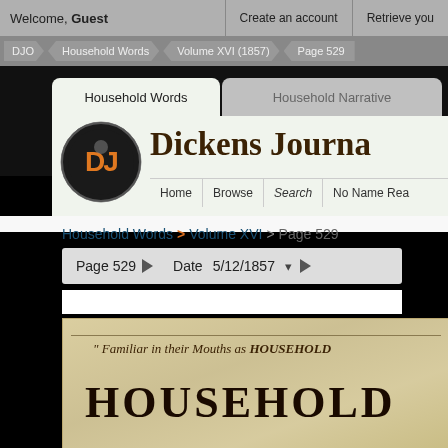Welcome, Guest   Create an account   Retrieve your
DJO > Household Words > Volume XVI (1857) > Page 529
Household Words | Household Narrative
[Figure (logo): Dickens Journals Online logo - orange DJ letters in black circle]
Dickens Journa
Home  Browse  Search  No Name Rea
Household Words > Volume XVI > Page 529
Page  529  ▶    Date    5/12/1857   ▾  ▶
[Figure (screenshot): Scanned page of Household Words journal showing header: "Familiar in their Mouths as HOUSEHOLD" and beginning of large title text HOUSEHOLD]